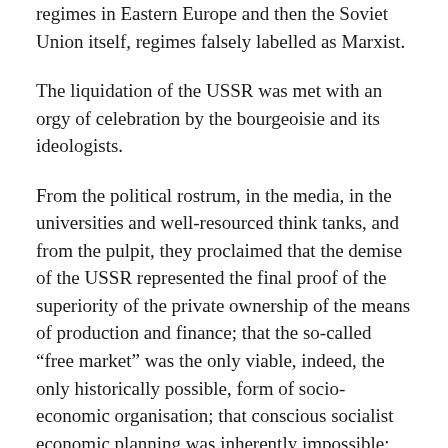regimes in Eastern Europe and then the Soviet Union itself, regimes falsely labelled as Marxist.
The liquidation of the USSR was met with an orgy of celebration by the bourgeoisie and its ideologists.
From the political rostrum, in the media, in the universities and well-resourced think tanks, and from the pulpit, they proclaimed that the demise of the USSR represented the final proof of the superiority of the private ownership of the means of production and finance; that the so-called “free market” was the only viable, indeed, the only historically possible, form of socio-economic organisation; that conscious socialist economic planning was inherently impossible; and finally, and most importantly, that Marxism was forever dead and buried.
Capitalism, freed from its historical nemesis in the form